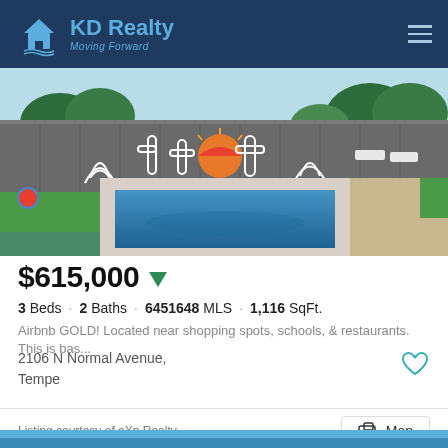KD Realty Moving Forward
[Figure (photo): Outdoor swimming pool with decorative desert mural on block wall fence, lounge chairs on grass, gravel surround]
$615,000
3 Beds · 2 Baths · 6451648 MLS · 1,116 SqFt.
Airbnb GOLD! Located near shopping spots, schools, & restaurants. This is bas...
2106 N Normal Avenue,
Tempe
Listing courtesy of eXp Realty.
Map
[Figure (photo): Partial view of another property photo at the bottom of the page]